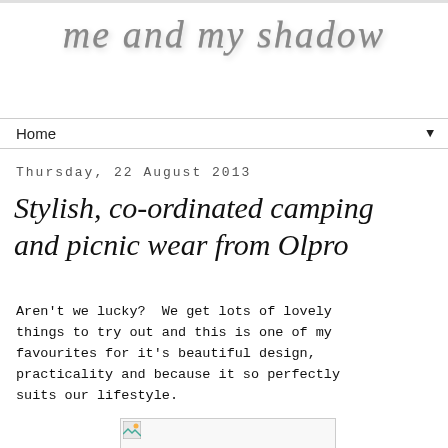me and my shadow
Home ▼
Thursday, 22 August 2013
Stylish, co-ordinated camping and picnic wear from Olpro
Aren't we lucky?  We get lots of lovely things to try out and this is one of my favourites for it's beautiful design, practicality and because it so perfectly suits our lifestyle.
[Figure (photo): Partially loaded image placeholder at bottom of page]